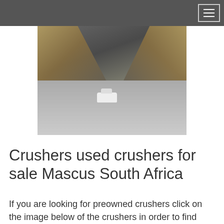[Figure (photo): Industrial crusher facility with large conveyor belts and scaffolding structures. A white sedan car is parked in the foreground on a dusty ground. The scene shows heavy mining equipment in South Africa.]
Crushers used crushers for sale Mascus South Africa
If you are looking for preowned crushers click on the image below of the crushers in order to find the seller details or more information